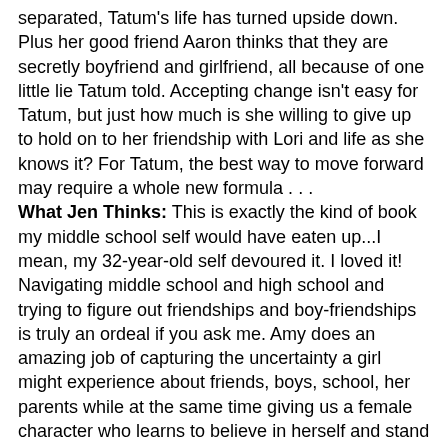separated, Tatum's life has turned upside down. Plus her good friend Aaron thinks that they are secretly boyfriend and girlfriend, all because of one little lie Tatum told. Accepting change isn't easy for Tatum, but just how much is she willing to give up to hold on to her friendship with Lori and life as she knows it? For Tatum, the best way to move forward may require a whole new formula . . .
What Jen Thinks: This is exactly the kind of book my middle school self would have eaten up...I mean, my 32-year-old self devoured it. I loved it! Navigating middle school and high school and trying to figure out friendships and boy-friendships is truly an ordeal if you ask me. Amy does an amazing job of capturing the uncertainty a girl might experience about friends, boys, school, her parents while at the same time giving us a female character who learns to believe in herself and stand up for herself when she needs to.
As I went back to reread the beginning, I noticed how well I had gotten to know the characters. It was fun to look back at the beginning and reread how they were interacting with each other at the beginning. Amy does a good job at incorporating dialogue and showing the reader what the